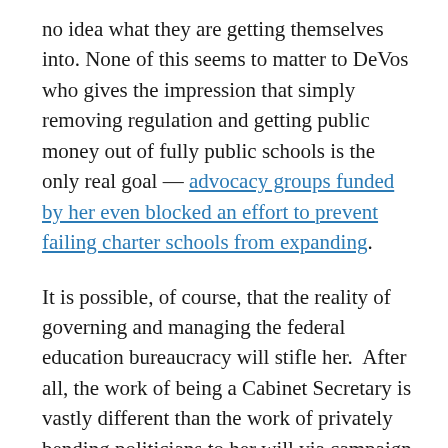no idea what they are getting themselves into. None of this seems to matter to DeVos who gives the impression that simply removing regulation and getting public money out of fully public schools is the only real goal — advocacy groups funded by her even blocked an effort to prevent failing charter schools from expanding. It is possible, of course, that the reality of governing and managing the federal education bureaucracy will stifle her.  After all, the work of being a Cabinet Secretary is vastly different than the work of privately bending politicians to her will via campaign donations.  Further, the federal government only provides a small portion of the nation's annual P-12 school budget, putting an inherent limit on the reach of the Secretary of Education.  However,